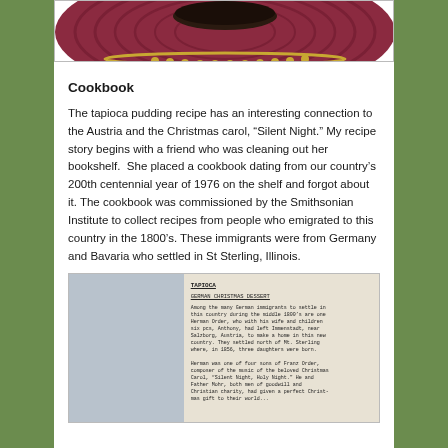[Figure (photo): Top portion of a photo showing a dark maroon/burgundy circular plate or object on a textured surface with gold rim detail]
Cookbook
The tapioca pudding recipe has an interesting connection to the Austria and the Christmas carol, “Silent Night.” My recipe story begins with a friend who was cleaning out her bookshelf. She placed a cookbook dating from our country’s 200th centennial year of 1976 on the shelf and forgot about it. The cookbook was commissioned by the Smithsonian Institute to collect recipes from people who emigrated to this country in the 1800’s. These immigrants were from Germany and Bavaria who settled in St Sterling, Illinois.
[Figure (photo): Open cookbook page showing typewritten text about GERMAN CHRISTMAS DESSERT recipe, with visible paragraphs describing German immigrants who came to this country in the 1800s and their connection to the Christmas carol Silent Night]